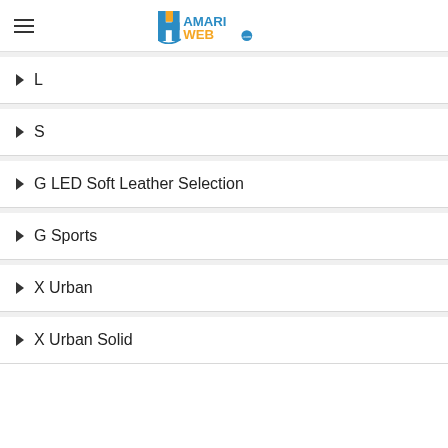HamariWeb
L
S
G LED Soft Leather Selection
G Sports
X Urban
X Urban Solid